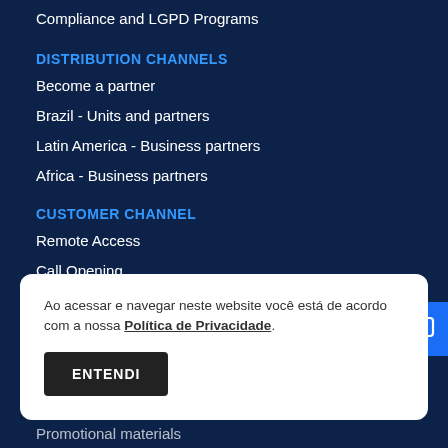Compliance and LGPD Programs
DISTRIBUTION CHANNELS
Become a partner
Brazil - Units and partners
Latin America - Business partners
Africa - Business partners
CUSTOMER CHANNEL
Remote Access
Call Opening
Ombudsman
Project development
Ao acessar e navegar neste website você está de acordo com a nossa Política de Privacidade.
ENTENDI
Promotional materials